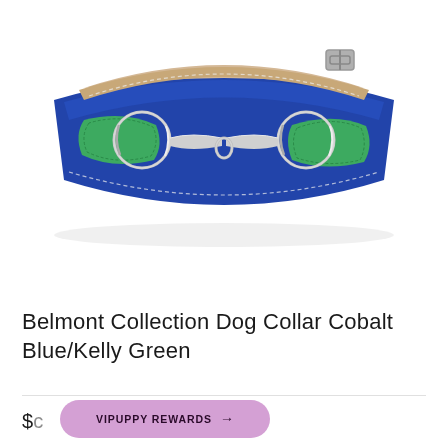[Figure (photo): A cobalt blue leather dog collar with kelly green leather accents and a silver snaffle bit (horse bit style) hardware in the center, displayed on a white background.]
Belmont Collection Dog Collar Cobalt Blue/Kelly Green
VIPUPPY REWARDS →
$c